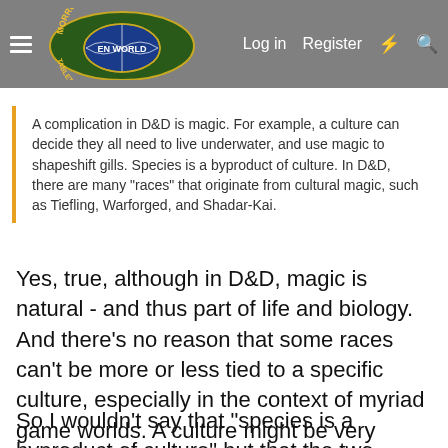Morrus' Unofficial Tabletop RPG News — Log in  Register
A complication in D&D is magic. For example, a culture can decide they all need to live underwater, and use magic to shapeshift gills. Species is a byproduct of culture. In D&D, there are many "races" that originate from cultural magic, such as Tiefling, Warforged, and Shadar-Kai.
Yes, true, although in D&D, magic is natural - and thus part of life and biology. And there's no reason that some races can't be more or less tied to a specific culture, especially in the context of myriad game worlds. A culture might be very xenophobic and want to keep itself "pure," and perhaps disallow members to leave without severe penalty. I mean, we have this in our world in certain countries and cults. Another culture could be more cosmopolitan, allowing its members freedom of choice. And everything in-between.
So I wouldn't say that "species is a byproduct of culture" but that the two influence and form each other. But the key point...